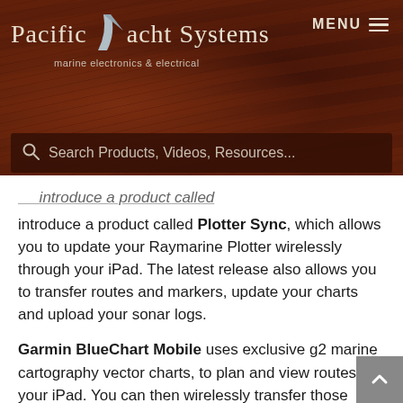[Figure (logo): Pacific Yacht Systems logo with arrow graphic and tagline 'marine electronics & electrical']
Search Products, Videos, Resources...
introduce a product called Plotter Sync, which allows you to update your Raymarine Plotter wirelessly through your iPad. The latest release also allows you to transfer routes and markers, update your charts and upload your sonar logs.
Garmin BlueChart Mobile uses exclusive g2 marine cartography vector charts, to plan and view routes on your iPad. You can then wirelessly transfer those routes to your compatible Garmin networked chartplotter. For some Garmin chartplotters that do not include wifi, you can purchase a marine wifi adapter kit to connect your iPad to transfer your routes, waypoints